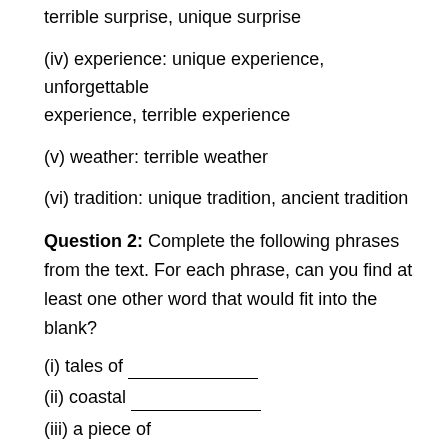terrible surprise, unique surprise
(iv) experience: unique experience, unforgettable experience, terrible experience
(v) weather: terrible weather
(vi) tradition: unique tradition, ancient tradition
Question 2: Complete the following phrases from the text. For each phrase, can you find at least one other word that would fit into the blank?
(i) tales of _______________
(ii) coastal _______________
(iii) a piece of